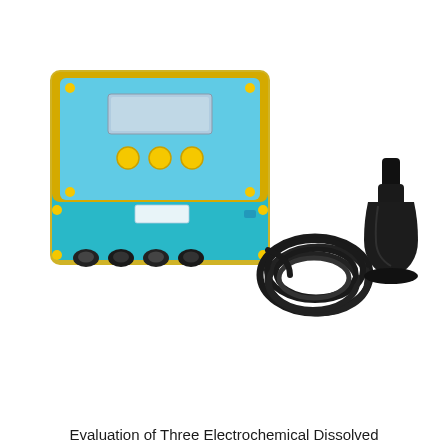[Figure (photo): Photo of an electrochemical dissolved oxygen sensor system consisting of a blue rectangular controller unit with LCD display, three yellow buttons, and four black cable glands at the bottom, connected via a coiled black cable to a black bell-shaped submersible sensor probe. The controller has a yellow-rimmed transparent cover on the upper portion.]
Evaluation of Three Electrochemical Dissolved